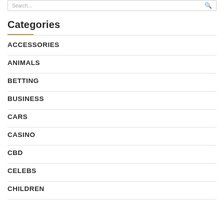Categories
ACCESSORIES
ANIMALS
BETTING
BUSINESS
CARS
CASINO
CBD
CELEBS
CHILDREN